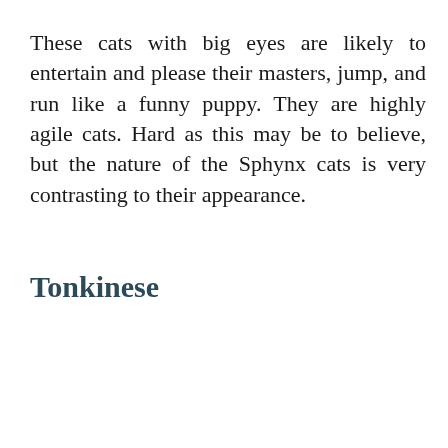These cats with big eyes are likely to entertain and please their masters, jump, and run like a funny puppy. They are highly agile cats. Hard as this may be to believe, but the nature of the Sphynx cats is very contrasting to their appearance.
Tonkinese